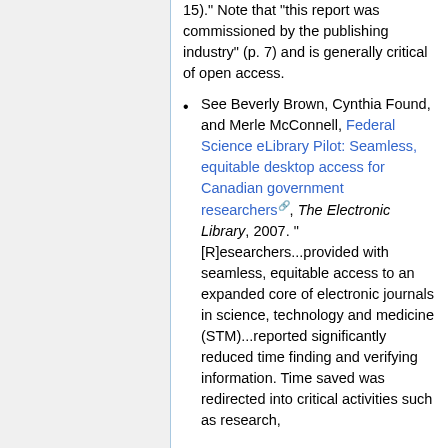15)." Note that "this report was commissioned by the publishing industry" (p. 7) and is generally critical of open access.
See Beverly Brown, Cynthia Found, and Merle McConnell, Federal Science eLibrary Pilot: Seamless, equitable desktop access for Canadian government researchers, The Electronic Library, 2007. "[R]esearchers...provided with seamless, equitable access to an expanded core of electronic journals in science, technology and medicine (STM)...reported significantly reduced time finding and verifying information. Time saved was redirected into critical activities such as research, laboratory activities, and...